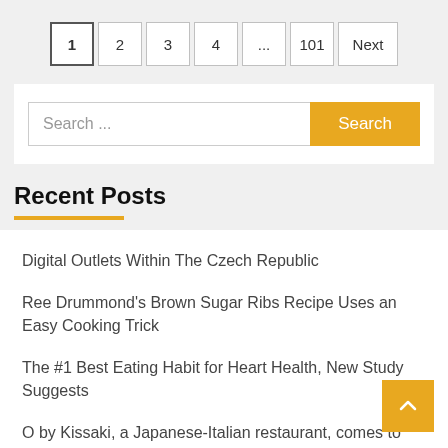1 2 3 4 ... 101 Next
Search ...
Recent Posts
Digital Outlets Within The Czech Republic
Ree Drummond's Brown Sugar Ribs Recipe Uses an Easy Cooking Trick
The #1 Best Eating Habit for Heart Health, New Study Suggests
O by Kissaki, a Japanese-Italian restaurant, comes to Hampton